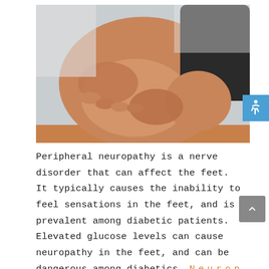[Figure (photo): Close-up photograph of a person holding and massaging the sole of their foot with both hands, against a light gray and orange background.]
Peripheral neuropathy is a nerve disorder that can affect the feet. It typically causes the inability to feel sensations in the feet, and is prevalent among diabetic patients. Elevated glucose levels can cause neuropathy in the feet, and can be dangerous among diabetics. Neuropathy can affect many types of nerves. The most common